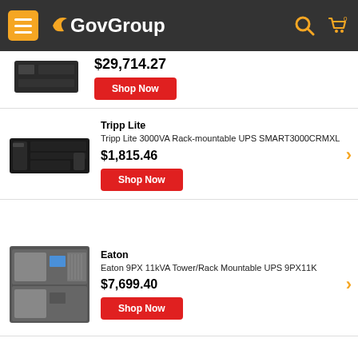[Figure (screenshot): GovGroup website header with hamburger menu, logo, search and cart icons]
$29,714.27
Shop Now
Tripp Lite
Tripp Lite 3000VA Rack-mountable UPS SMART3000CRMXL
$1,815.46
Shop Now
Eaton
Eaton 9PX 11kVA Tower/Rack Mountable UPS 9PX11K
$7,699.40
Shop Now